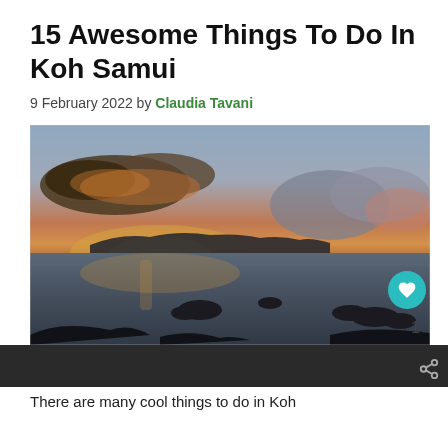15 Awesome Things To Do In Koh Samui
9 February 2022 by Claudia Tavani
[Figure (photo): Sunset or dusk seascape photo of Koh Samui coastline with dramatic clouds in the sky, silhouetted rocks in calm water, and a warm glowing horizon.]
There are many cool things to do in Koh